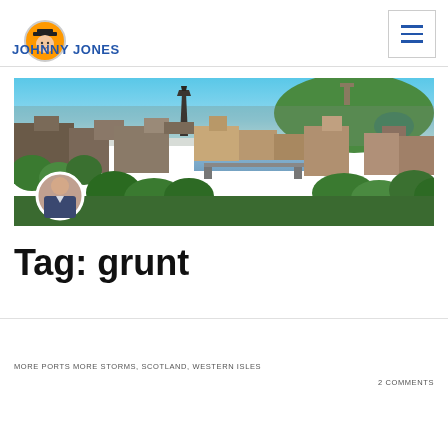[Figure (logo): Cartoon character logo in orange circle]
JOHNNY JONES
[Figure (photo): Panoramic aerial view of Edinburgh city with green trees, river, historic buildings, and a hill in background. Author portrait circle overlaid bottom-left.]
Tag: grunt
MORE PORTS MORE STORMS, SCOTLAND, WESTERN ISLES
2 COMMENTS